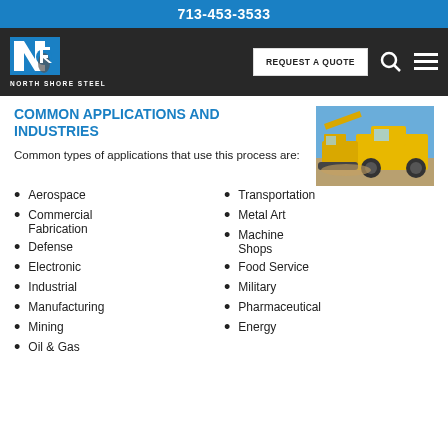713-453-3533
[Figure (logo): North Shore Steel logo — blue N R letters mark with text NORTH SHORE STEEL below]
COMMON APPLICATIONS AND INDUSTRIES
[Figure (photo): Construction/mining equipment — yellow excavator and large dump truck outdoors under blue sky]
Common types of applications that use this process are:
Aerospace
Commercial Fabrication
Defense
Electronic
Industrial
Manufacturing
Mining
Oil & Gas
Transportation
Metal Art
Machine Shops
Food Service
Military
Pharmaceutical
Energy